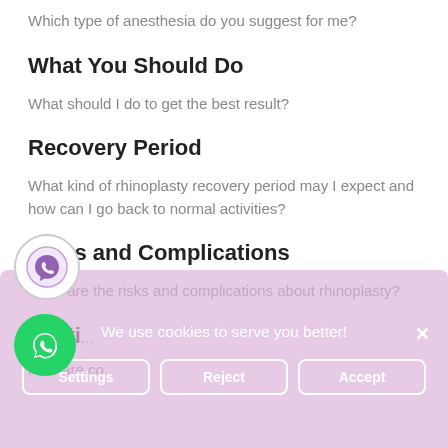Which type of anesthesia do you suggest for me?
What You Should Do
What should I do to get the best result?
Recovery Period
What kind of rhinoplasty recovery period may I expect and how can I go back to normal activities?
Risks and Complications
What are the risks and complications about rhinoplasty?
F...uti...
How are co...
We use cookies to serve you better!